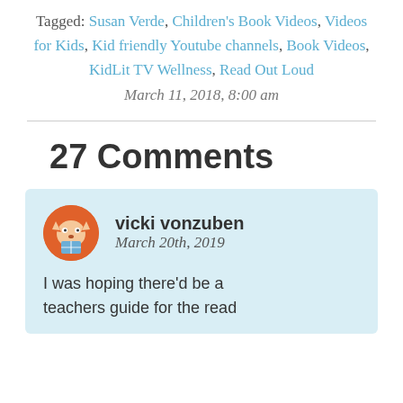Tagged: Susan Verde, Children's Book Videos, Videos for Kids, Kid friendly Youtube channels, Book Videos, KidLit TV Wellness, Read Out Loud
March 11, 2018, 8:00 am
27 Comments
vicki vonzuben
March 20th, 2019

I was hoping there'd be a teachers guide for the read